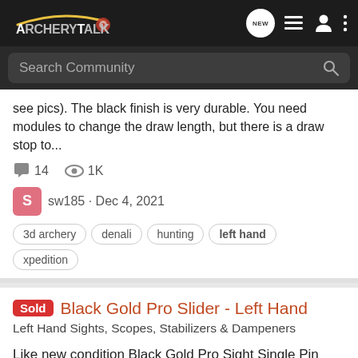ArcheryTalk — Navigation bar with logo, NEW, list, person, and menu icons
Search Community
see pics). The black finish is very durable. You need modules to change the draw length, but there is a draw stop to...
14 comments · 1K views
sw185 · Dec 4, 2021
3d archery
denali
hunting
left hand
xpedition
Sold Black Gold Pro Slider - Left Hand
Left Hand Sights, Scopes, Stabilizers & Dampeners
Like new condition Black Gold Pro Sight Single Pin Slider Includes all hardware and sight tapes $150 TYD
3 comments · 464 views
Mrjblanchard · Nov 20, 2021